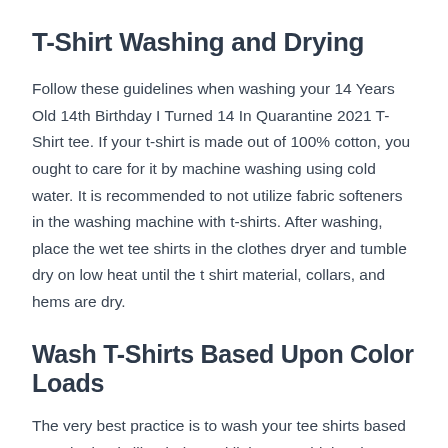T-Shirt Washing and Drying
Follow these guidelines when washing your 14 Years Old 14th Birthday I Turned 14 In Quarantine 2021 T-Shirt tee. If your t-shirt is made out of 100% cotton, you ought to care for it by machine washing using cold water. It is recommended to not utilize fabric softeners in the washing machine with t-shirts. After washing, place the wet tee shirts in the clothes dryer and tumble dry on low heat until the t shirt material, collars, and hems are dry.
Wash T-Shirts Based Upon Color Loads
The very best practice is to wash your tee shirts based on color loads like darks and lights. Combining the wash load